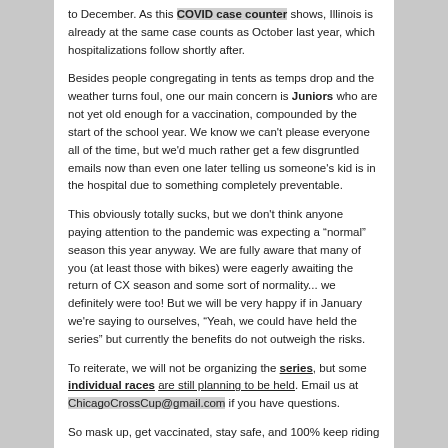to December. As this COVID case counter shows, Illinois is already at the same case counts as October last year, which hospitalizations follow shortly after.
Besides people congregating in tents as temps drop and the weather turns foul, one our main concern is Juniors who are not yet old enough for a vaccination, compounded by the start of the school year. We know we can't please everyone all of the time, but we'd much rather get a few disgruntled emails now than even one later telling us someone's kid is in the hospital due to something completely preventable.
This obviously totally sucks, but we don't think anyone paying attention to the pandemic was expecting a “normal” season this year anyway. We are fully aware that many of you (at least those with bikes) were eagerly awaiting the return of CX season and some sort of normality... we definitely were too! But we will be very happy if in January we're saying to ourselves, “Yeah, we could have held the series” but currently the benefits do not outweigh the risks.
To reiterate, we will not be organizing the series, but some individual races are still planning to be held. Email us at ChicagoCrossCup@gmail.com if you have questions.
So mask up, get vaccinated, stay safe, and 100% keep riding